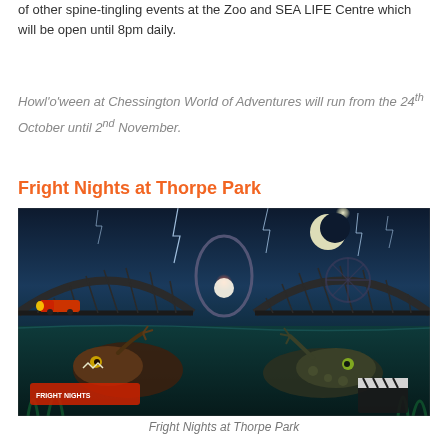of other spine-tingling events at the Zoo and SEA LIFE Centre which will be open until 8pm daily.
Howl'o'ween at Chessington World of Adventures will run from the 24th October until 2nd November.
Fright Nights at Thorpe Park
[Figure (illustration): Promotional artwork for Fright Nights at Thorpe Park showing rollercoasters, lightning, a full moon, and underwater creatures in a dark dramatic scene.]
Fright Nights at Thorpe Park